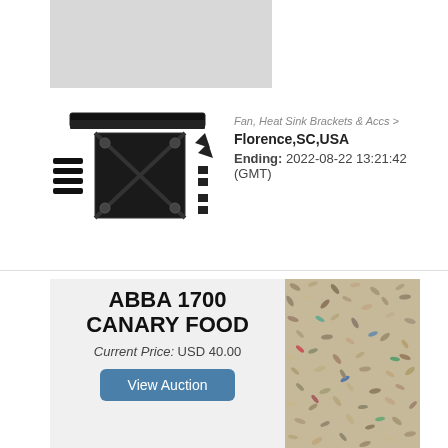[Figure (photo): Gray placeholder rectangle for product image]
[Figure (photo): Heat sink brackets and accessories product image showing mounting plate, screws, and hardware components]
Fan, Heat Sink Brackets & Accs >
Florence,SC,USA
Ending: 2022-08-22 13:21:42 (GMT)
ABBA 1700 CANARY FOOD
Current Price: USD 40.00
View Auction
[Figure (photo): Close-up photo of canary bird seed mix showing various seeds and grains]